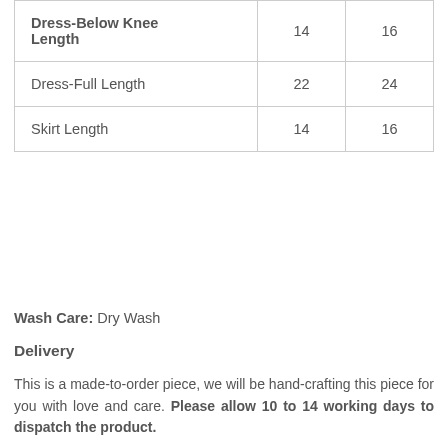|  |  |  |
| --- | --- | --- |
| Dress-Below Knee Length | 14 | 16 |
| Dress-Full Length | 22 | 24 |
| Skirt Length | 14 | 16 |
Wash Care: Dry Wash
Delivery
This is a made-to-order piece, we will be hand-crafting this piece for you with love and care. Please allow 10 to 14 working days to dispatch the product.
Shipping
We do Domestic & International Shipping